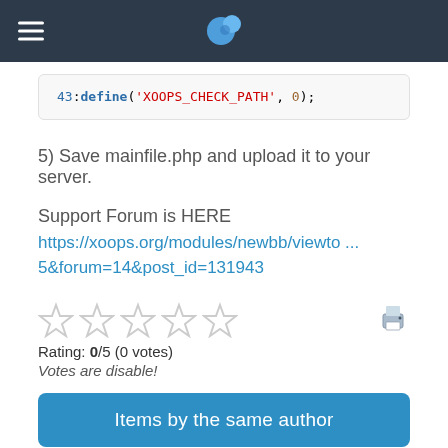XOOPS logo header with hamburger menu
43:define('XOOPS_CHECK_PATH', 0);
5) Save mainfile.php and upload it to your server.
Support Forum is HERE
https://xoops.org/modules/newbb/viewto ...
5&forum=14&post_id=131943
Rating: 0/5 (0 votes)
Votes are disable!
Items by the same author